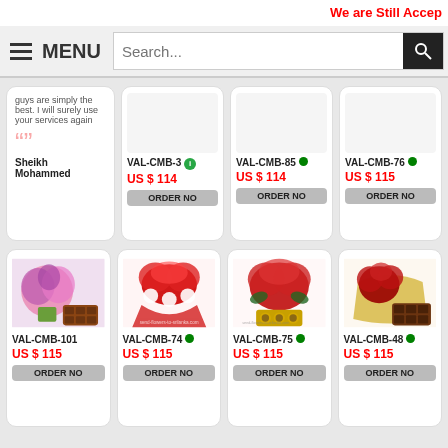We are Still Accep
MENU | Search...
guys are simply the best. I will surely use your services again
Sheikh Mohammed
VAL-CMB-3 | US $ 114 | ORDER NO
VAL-CMB-85 | US $ 114 | ORDER NO
VAL-CMB-76 | US $ 115 | ORDER NO
[Figure (photo): Pink flower bouquet with chocolates]
VAL-CMB-101 | US $ 115 | ORDER NO
[Figure (photo): Red roses with white flowers bouquet]
VAL-CMB-74 | US $ 115 | ORDER NO
[Figure (photo): Red roses bouquet with Ferrero Rocher chocolates]
VAL-CMB-75 | US $ 115 | ORDER NO
[Figure (photo): Red roses with golden wrapper and chocolates]
VAL-CMB-48 | US $ 115 | ORDER NO